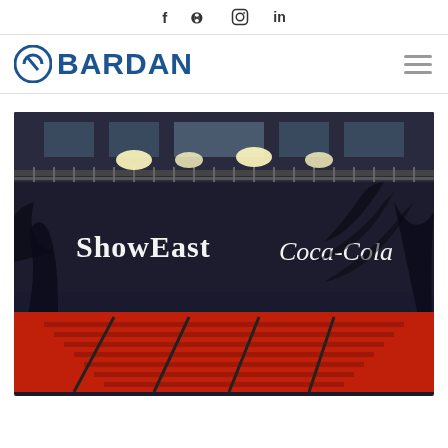f  twitter  instagram  in
[Figure (logo): BARDAN company logo with circular blue icon and bold blue text]
[Figure (photo): Night-time photo of a building exterior with illuminated ShowEast and Coca-Cola signs, red-lit stairs with palm tree shadows projected on walls]